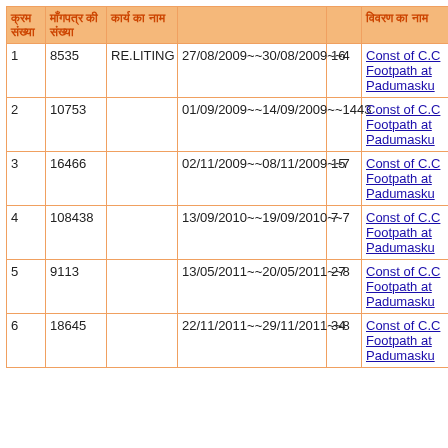| क्रम संख्या | माँगपत्र की संख्या | कार्य का नाम |  |  | विवरण का नाम |
| --- | --- | --- | --- | --- | --- |
| 1 | 8535 | RE.LITING | 27/08/2009~~30/08/2009~~4 | 16 | Const of C.C Footpath at Padumasku |
| 2 | 10753 |  | 01/09/2009~~14/09/2009~~1443 |  | Const of C.C Footpath at Padumasku |
| 3 | 16466 |  | 02/11/2009~~08/11/2009~~7 | 15 | Const of C.C Footpath at Padumasku |
| 4 | 108438 |  | 13/09/2010~~19/09/2010~~7 | 7 | Const of C.C Footpath at Padumasku |
| 5 | 9113 |  | 13/05/2011~~20/05/2011~~8 | 27 | Const of C.C Footpath at Padumasku |
| 6 | 18645 |  | 22/11/2011~~29/11/2011~~8 | 34 | Const of C.C Footpath at Padumasku |